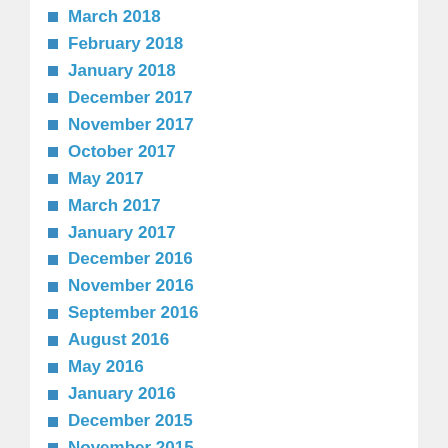March 2018
February 2018
January 2018
December 2017
November 2017
October 2017
May 2017
March 2017
January 2017
December 2016
November 2016
September 2016
August 2016
May 2016
January 2016
December 2015
November 2015
December 2014
October 2014
June 2014
April 2014